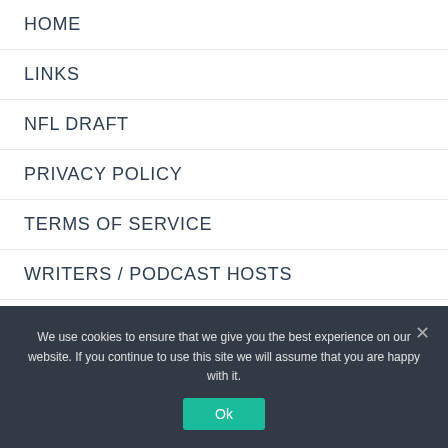HOME
LINKS
NFL DRAFT
PRIVACY POLICY
TERMS OF SERVICE
WRITERS / PODCAST HOSTS
- BILL ALVSTAD
We use cookies on our website to give you the most
We use cookies to ensure that we give you the best experience on our website. If you continue to use this site we will assume that you are happy with it.
Ok